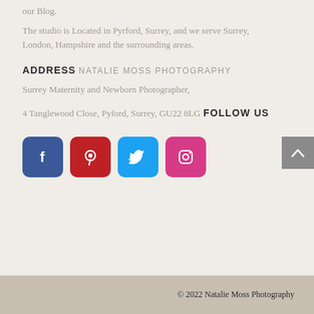our Blog.
The studio is Located in Pyrford, Surrey, and we serve Surrey, London, Hampshire and the surrounding areas.
ADDRESS
NATALIE MOSS PHOTOGRAPHY
Surrey Maternity and Newborn Photographer,
4 Tanglewood Close, Pyford, Surrey, GU22 8LG
FOLLOW US
[Figure (infographic): Four social media icon buttons: Facebook (dark blue), Pinterest (red), Twitter (light blue), Instagram (pink), each as rounded square icons]
© 2022 Natalie Moss Photography